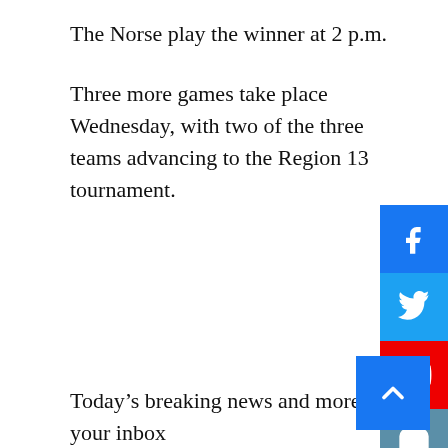The Norse play the winner at 2 p.m.
Three more games take place Wednesday, with two of the three teams advancing to the Region 13 tournament.
[Figure (infographic): Social media sharing buttons: Facebook (blue), Twitter (blue), YouTube (red), Instagram (grey-blue), and a back-to-top arrow button (blue)]
Today’s breaking news and more in your inbox